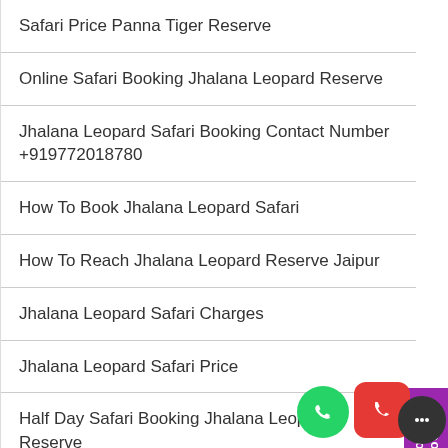Safari Price Panna Tiger Reserve
Online Safari Booking Jhalana Leopard Reserve
Jhalana Leopard Safari Booking Contact Number +919772018780
How To Book Jhalana Leopard Safari
How To Reach Jhalana Leopard Reserve Jaipur
Jhalana Leopard Safari Charges
Jhalana Leopard Safari Price
Half Day Safari Booking Jhalana Leopard Reserve
Official Website Jhalana Leopard Reserve
Hotels and Resort Ranthambore National P…
Hotel and Resorts Sariska Tiger Reserve